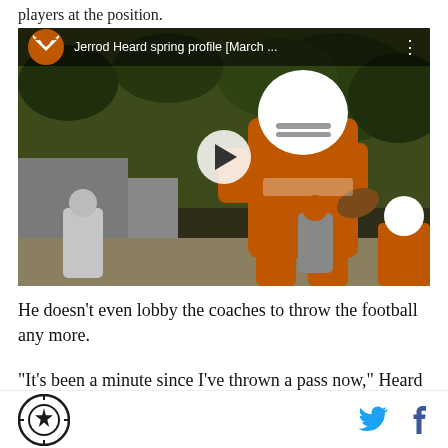players at the position.
[Figure (screenshot): YouTube video thumbnail showing Jerrod Heard in Texas Longhorns orange uniform running with a football during spring practice. Video title reads 'Jerrod Heard spring profile [March ...' with Texas Longhorns YouTube channel logo and a play button overlay.]
He doesn't even lobby the coaches to throw the football any more.
“It's been a minute since I’ve thrown a pass now,” Heard said last week. “I’m kind of scared to put that in